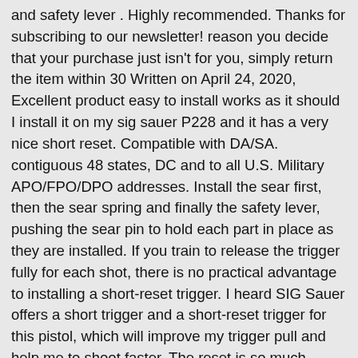and safety lever . Highly recommended. Thanks for subscribing to our newsletter! reason you decide that your purchase just isn't for you, simply return the item within 30 Written on April 24, 2020, Excellent product easy to install works as it should I install it on my sig sauer P228 and it has a very nice short reset. Compatible with DA/SA. contiguous 48 states, DC and to all U.S. Military APO/FPO/DPO addresses. Install the sear first, then the sear spring and finally the safety lever, pushing the sear pin to hold each part in place as they are installed. If you train to release the trigger fully for each shot, there is no practical advantage to installing a short-reset trigger. I heard SIG Sauer offers a short trigger and a short-reset trigger for this pistol, which will improve my trigger pull and help me to shoot faster. The reset is so much quicker when you let off..literally the trigger slightly moves a hair and resets. Parts kit includes: decocking lever, sear, safety lever. Instant pickup of the front sight in daylight conditions with or without my glasses. Privacy Policy  •  Contact Us  •  Warnings  •  FAQs  •  © 2021 National Rifle Association of America. Assemble the pistol as mentioned before, leaving the right-grip plate until last. Here